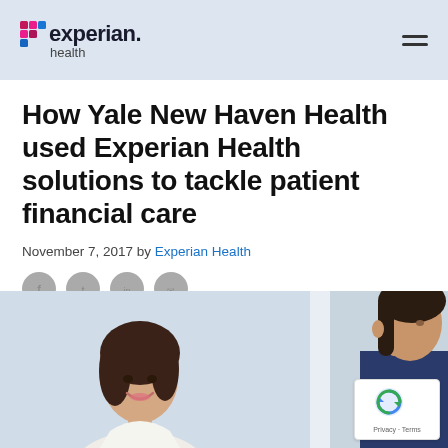[Figure (logo): Experian Health logo with colored dots grid and hamburger menu icon]
How Yale New Haven Health used Experian Health solutions to tackle patient financial care
November 7, 2017 by Experian Health
[Figure (infographic): Four gray circular social share icons in a row]
[Figure (photo): Photo of two women smiling, appearing to be in a healthcare setting, split into two panels]